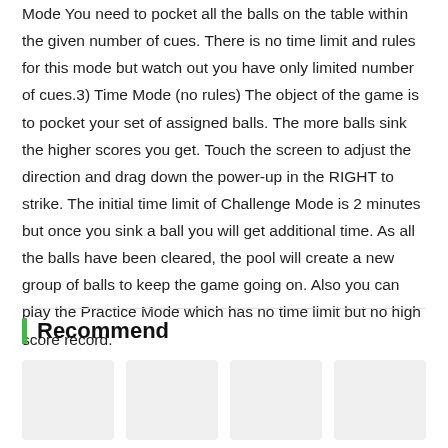Mode You need to pocket all the balls on the table within the given number of cues. There is no time limit and rules for this mode but watch out you have only limited number of cues.3) Time Mode (no rules) The object of the game is to pocket your set of assigned balls. The more balls sink the higher scores you get. Touch the screen to adjust the direction and drag down the power-up in the RIGHT to strike. The initial time limit of Challenge Mode is 2 minutes but once you sink a ball you will get additional time. As all the balls have been cleared, the pool will create a new group of balls to keep the game going on. Also you can play the Practice Mode which has no time limit but no high score record.
Recommend
[Figure (other): Four placeholder image cards in a horizontal row for recommended items]